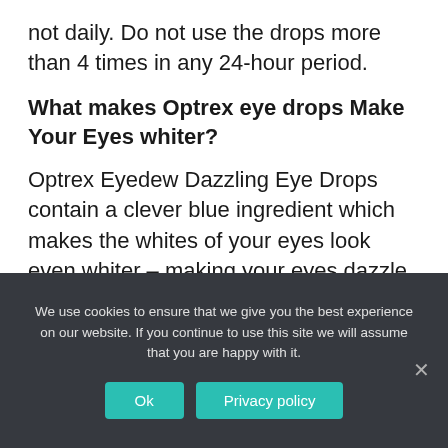not daily. Do not use the drops more than 4 times in any 24-hour period.
What makes Optrex eye drops Make Your Eyes whiter?
Optrex Eyedew Dazzling Eye Drops contain a clever blue ingredient which makes the whites of your eyes look even whiter – making your eyes dazzle. Suitable for all eye colours. The active ingredients in these eye drops will make the whites of your eyes
We use cookies to ensure that we give you the best experience on our website. If you continue to use this site we will assume that you are happy with it.